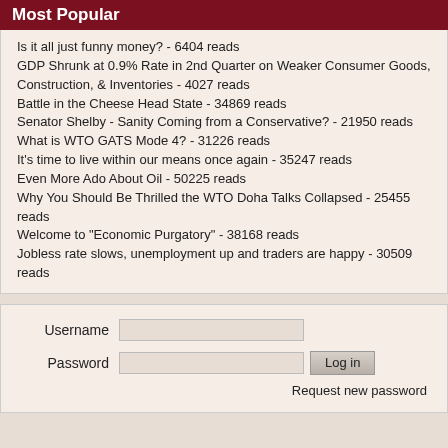Most Popular
Is it all just funny money? - 6404 reads
GDP Shrunk at 0.9% Rate in 2nd Quarter on Weaker Consumer Goods, Construction, & Inventories - 4027 reads
Battle in the Cheese Head State - 34869 reads
Senator Shelby - Sanity Coming from a Conservative? - 21950 reads
What is WTO GATS Mode 4? - 31226 reads
It's time to live within our means once again - 35247 reads
Even More Ado About Oil - 50225 reads
Why You Should Be Thrilled the WTO Doha Talks Collapsed - 25455 reads
Welcome to "Economic Purgatory" - 38168 reads
Jobless rate slows, unemployment up and traders are happy - 30509 reads
Username [input] Password [input] Log in Request new password